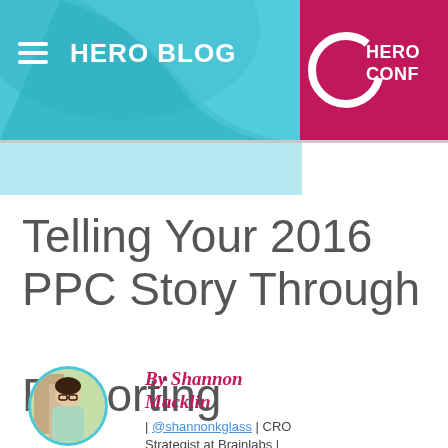[Figure (screenshot): Hero Blog website header with teal/cyan left section showing hamburger menu icon and 'HERO BLOG' text, and pink/magenta right section with Hero Conf circular logo. A decorative cape/wave shape appears in the teal section background.]
Telling Your 2016 PPC Story Through Reporting
[Figure (photo): Circular cropped headshot photo of Shannon Macklin, a woman with dark hair and glasses, smiling, outdoors with buildings and greenery in background. Framed with a teal/cyan circular border.]
By Shannon Macklin | @shannonkglass | CRO Strategist at Brainlabs |